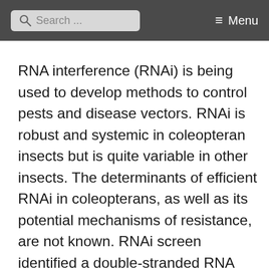Search ... Menu
RNA interference (RNAi) is being used to develop methods to control pests and disease vectors. RNAi is robust and systemic in coleopteran insects but is quite variable in other insects. The determinants of efficient RNAi in coleopterans, as well as its potential mechanisms of resistance, are not known. RNAi screen identified a double-stranded RNA binding protein (StaufenC) as a major player in RNAi. StaufenC homologs have been identified in only coleopteran insects. Experiments in two coleopteran insects, Leptinotarsa decemlineata and Tribolium castaneum, showed the requirement of StaufenC for